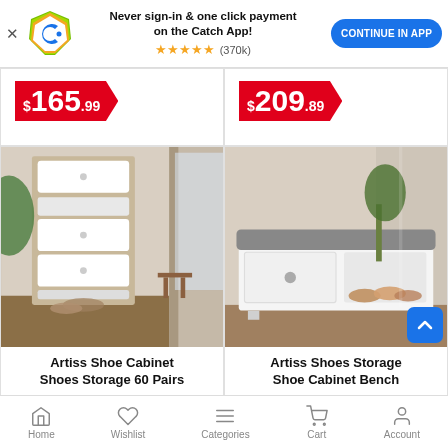[Figure (screenshot): Catch app promotional banner with logo, text 'Never sign-in & one click payment on the Catch App!', 5-star rating (370k reviews), and 'CONTINUE IN APP' button]
[Figure (photo): Product card showing $165.99 price badge (partially visible top-left card)]
[Figure (photo): Product card showing $209.89 price badge (partially visible top-right card)]
[Figure (photo): Artiss Shoe Cabinet Shoes Storage 60 Pairs - tall wooden shoe cabinet with white drawer fronts in a room setting]
Artiss Shoe Cabinet Shoes Storage 60 Pairs
[Figure (photo): Artiss Shoes Storage Shoe Cabinet Bench - white bench with gray cushion and open shoe storage]
Artiss Shoes Storage Shoe Cabinet Bench
Home | Wishlist | Categories | Cart | Account